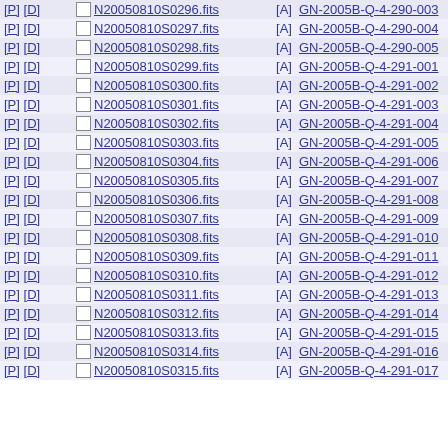|  |  | Filename |  | Program ID | Year |
| --- | --- | --- | --- | --- | --- |
| [P] [D] |  | N20050810S0296.fits | [A] | GN-2005B-Q-4-290-003 | 200 |
| [P] [D] |  | N20050810S0297.fits | [A] | GN-2005B-Q-4-290-004 | 200 |
| [P] [D] |  | N20050810S0298.fits | [A] | GN-2005B-Q-4-290-005 | 200 |
| [P] [D] |  | N20050810S0299.fits | [A] | GN-2005B-Q-4-291-001 | 200 |
| [P] [D] |  | N20050810S0300.fits | [A] | GN-2005B-Q-4-291-002 | 200 |
| [P] [D] |  | N20050810S0301.fits | [A] | GN-2005B-Q-4-291-003 | 200 |
| [P] [D] |  | N20050810S0302.fits | [A] | GN-2005B-Q-4-291-004 | 200 |
| [P] [D] |  | N20050810S0303.fits | [A] | GN-2005B-Q-4-291-005 | 200 |
| [P] [D] |  | N20050810S0304.fits | [A] | GN-2005B-Q-4-291-006 | 200 |
| [P] [D] |  | N20050810S0305.fits | [A] | GN-2005B-Q-4-291-007 | 200 |
| [P] [D] |  | N20050810S0306.fits | [A] | GN-2005B-Q-4-291-008 | 200 |
| [P] [D] |  | N20050810S0307.fits | [A] | GN-2005B-Q-4-291-009 | 200 |
| [P] [D] |  | N20050810S0308.fits | [A] | GN-2005B-Q-4-291-010 | 200 |
| [P] [D] |  | N20050810S0309.fits | [A] | GN-2005B-Q-4-291-011 | 200 |
| [P] [D] |  | N20050810S0310.fits | [A] | GN-2005B-Q-4-291-012 | 200 |
| [P] [D] |  | N20050810S0311.fits | [A] | GN-2005B-Q-4-291-013 | 200 |
| [P] [D] |  | N20050810S0312.fits | [A] | GN-2005B-Q-4-291-014 | 200 |
| [P] [D] |  | N20050810S0313.fits | [A] | GN-2005B-Q-4-291-015 | 200 |
| [P] [D] |  | N20050810S0314.fits | [A] | GN-2005B-Q-4-291-016 | 200 |
| [P] [D] |  | N20050810S0315.fits | [A] | GN-2005B-Q-4-291-017 | 200 |